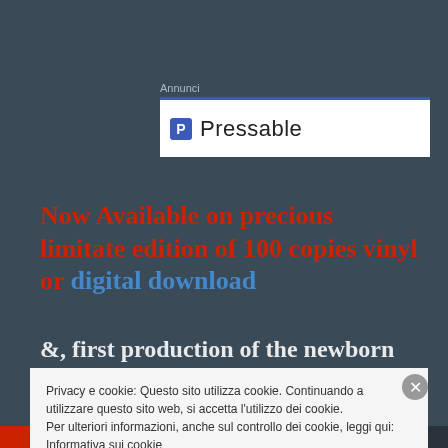[Figure (screenshot): Advertisement banner showing Pressable logo with blue top border and white background]
Now Available on precious limitate edition of 100 copies vinyl or digital download
&, first production of the newborn Anomala Soundscapes wants to be a programmatic manifesto
Privacy e cookie: Questo sito utilizza cookie. Continuando a utilizzare questo sito web, si accetta l'utilizzo dei cookie.
Per ulteriori informazioni, anche sul controllo dei cookie, leggi qui:
Informativa sui cookie
Chiudi e accetta